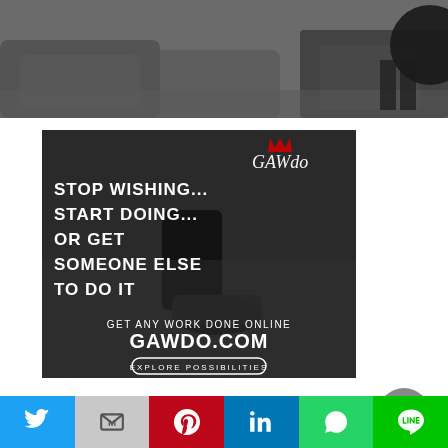[Figure (photo): Top banner photo showing an office/lounge area with chairs and people, in muted gray tones]
[Figure (infographic): Advertisement for GAWDO.COM: dark background with running shoes image. Text reads: STOP WISHING... START DOING... OR GET SOMEONE ELSE TO DO IT | GET ANY WORK DONE ONLINE | GAWDO.COM | EXPLORE POSSIBILITIES]
Datacentrepricing (DCP), the specialists in worldwide Data Centre research, today publishes a
[Figure (other): Gray circular scroll-to-top button with up arrow]
[Figure (other): Social share bar with Twitter, Mail, Pinterest, LinkedIn, WhatsApp, LINE buttons]